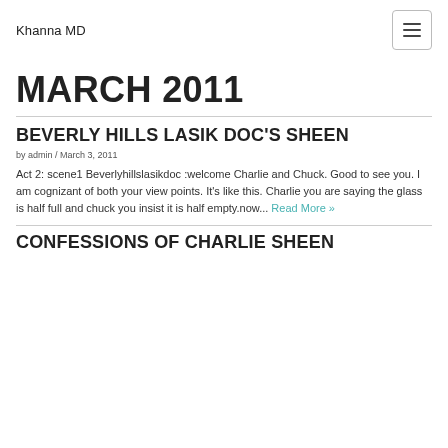Khanna MD
MARCH 2011
BEVERLY HILLS LASIK DOC'S SHEEN
by admin / March 3, 2011
Act 2: scene1 Beverlyhillslasikdoc :welcome Charlie and Chuck. Good to see you. I am cognizant of both your view points. It's like this. Charlie you are saying the glass is half full and chuck you insist it is half empty.now... Read More »
CONFESSIONS OF CHARLIE SHEEN